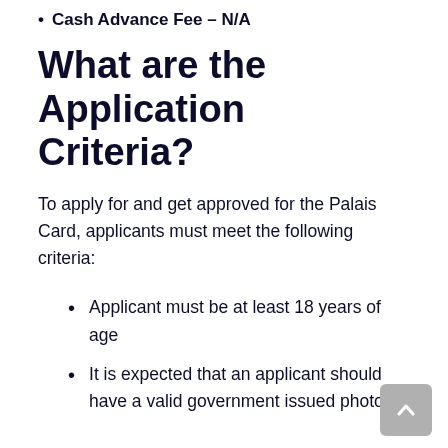Cash Advance Fee – N/A
What are the Application Criteria?
To apply for and get approved for the Palais Card, applicants must meet the following criteria:
Applicant must be at least 18 years of age
It is expected that an applicant should have a valid government issued photo ID